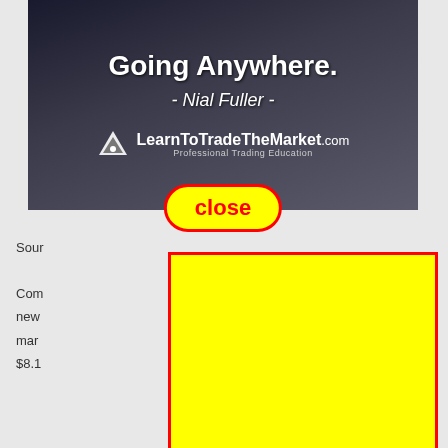[Figure (screenshot): Advertisement banner for LearnToTradeTheMarket.com showing 'Going Anywhere.' quote by Nial Fuller with a close button overlay]
Sour...
Com...g new...urs mar...sus $8.1...
[Figure (other): Yellow rectangle with red border overlaying content]